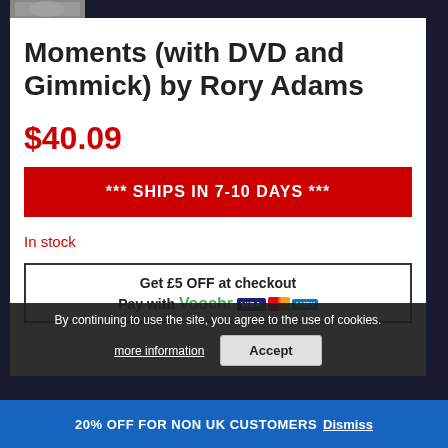[Figure (photo): Partial product image at top left corner]
Moments (with DVD and Gimmick) by Rory Adams
$40.09
*** SHIPS IN 7-10 DAYS ***
In stock
Get £5 OFF at checkout
Pay with Voochr [VISA] [MC] [AMEX]
By continuing to use the site, you agree to the use of cookies.
more information
Accept
20% OFF FOR NON UK CUSTOMERS Dismiss